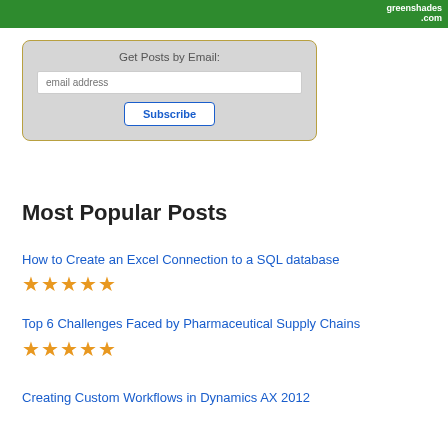[Figure (photo): Green banner with website text greenshades.com on right side]
Get Posts by Email:
email address
Subscribe
Most Popular Posts
How to Create an Excel Connection to a SQL database
★★★★★
Top 6 Challenges Faced by Pharmaceutical Supply Chains
★★★★★
Creating Custom Workflows in Dynamics AX 2012